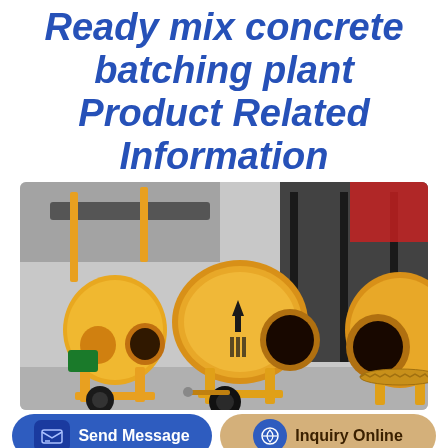Ready mix concrete batching plant Product Related Information
[Figure (photo): Yellow concrete mixer machines / batching plant equipment parked in an industrial yard, multiple drum mixers visible in yellow and orange color with green motor, industrial background.]
Send Message
Inquiry Online
ce iso 35m3 h capacity electric concrete